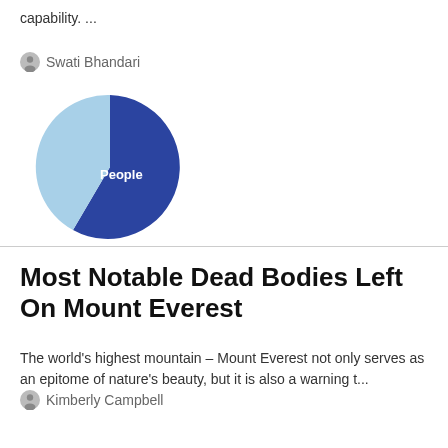capability. ...
Swati Bhandari
[Figure (pie-chart): Pie chart showing People category, dark blue dominant slice with light blue small slice, labeled 'People']
Most Notable Dead Bodies Left On Mount Everest
The world's highest mountain – Mount Everest not only serves as an epitome of nature's beauty, but it is also a warning t...
Kimberly Campbell
[Figure (pie-chart): Pie chart showing People category, dark blue dominant slice with light blue small slice, labeled 'People', partially visible]